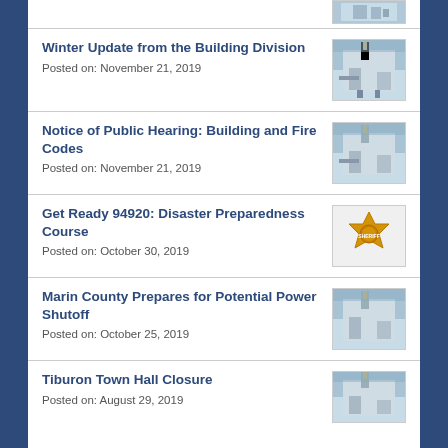Winter Update from the Building Division
Posted on: November 21, 2019
Notice of Public Hearing: Building and Fire Codes
Posted on: November 21, 2019
Get Ready 94920: Disaster Preparedness Course
Posted on: October 30, 2019
Marin County Prepares for Potential Power Shutoff
Posted on: October 25, 2019
Tiburon Town Hall Closure
Posted on: August 29, 2019